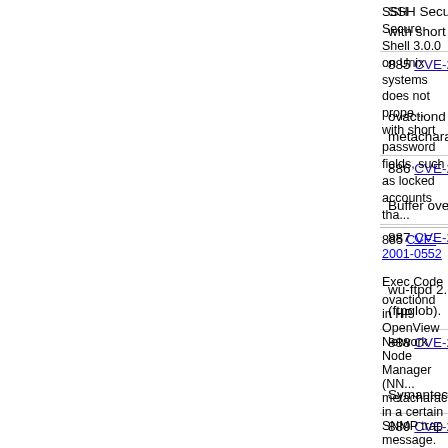SSH Secure Shell 3.0.0 on Unix systems does not prope... with short password fields, such as locked accounts tha...
885 CVE-2001-0552   Exec Code
ovactiond in HP OpenView Network Node Manager (NN... metacharacters in a certain SNMP trap message.
886 CVE-2001-0551   Exec Code Overflow
Buffer overflow in CDE Print Viewer (dtprintinfo) allows lo...
887 CVE-2001-0550   Exec Code
wu-ftpd 2.6.1 allows remote attackers to execute arbitrar... (ftpglob).
888 CVE-2001-0549
Symantec LiveUpdate 1.5 stores proxy passwords in cle...
889 CVE-2001-0548   Overflow +Priv
Buffer overflow in dtmail in Solaris 2.6 and 7 allows loca...
890 CVE-2001-0546   DoS
Memory leak in H.323 Gatekeeper Service in Microsoft I... (resource exhaustion) via a large amount of malformed ...